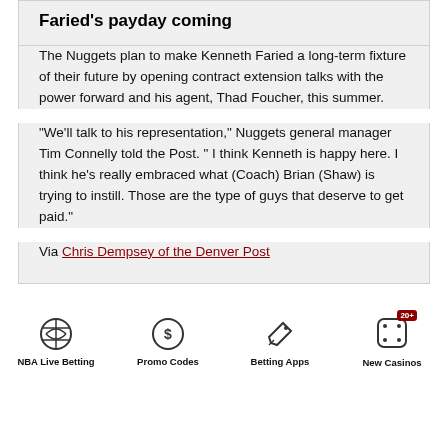Faried's payday coming
The Nuggets plan to make Kenneth Faried a long-term fixture of their future by opening contract extension talks with the power forward and his agent, Thad Foucher, this summer.
“We’ll talk to his representation,” Nuggets general manager Tim Connelly told the Post. “ I think Kenneth is happy here. I think he’s really embraced what (Coach) Brian (Shaw) is trying to instill. Those are the type of guys that deserve to get paid.”
Via Chris Dempsey of the Denver Post
[Figure (infographic): Footer navigation bar with four icons: NBA Live Betting (basketball icon), Promo Codes (dollar sign circle icon), Betting Apps (rocket icon), New Casinos (dice icon with 20+ badge)]